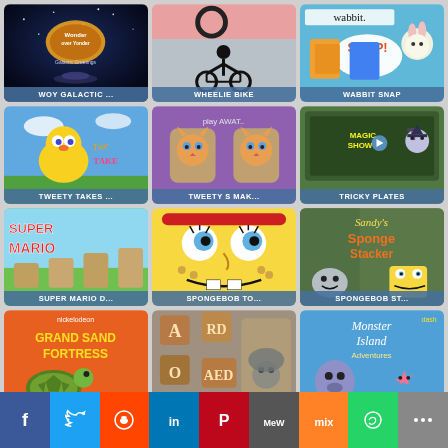[Figure (screenshot): WOY GALACTIC game tile - dark starfield background with Wonder Over Yonder Galactic Greetings logo]
[Figure (screenshot): WHEELIE BIKE game tile - gray background with stick figure on bicycle]
[Figure (screenshot): WABBIT SNAP game tile - blue background with Wabbit cartoon and SNAP speech bubble]
[Figure (screenshot): TWEETY TAKES game tile - blue sky background with Tweety bird cartoon]
[Figure (screenshot): TWEETY S MAK game tile - orange cat pair matching game on purple background]
[Figure (screenshot): TRICKY PLATES game tile - chalkboard background with Magic Show cartoon character]
[Figure (screenshot): SUPER MARIO D game tile - Super Mario colorful game logo on green background]
[Figure (screenshot): SPONGEBOB TO game tile - SpongeBob close-up face with headband]
[Figure (screenshot): SPONGEBOB ST game tile - Sandy's Sponge Stacker game with SpongeBob]
[Figure (screenshot): Grand Sand Fortress game tile - Nickelodeon game with turtle character]
[Figure (screenshot): ARD OAED - letter tiles word game]
[Figure (screenshot): Monster Island Adventures game tile with Squidward and Patrick]
Facebook | Twitter | Reddit | LinkedIn | Pinterest | MeWe | Mix | WhatsApp | More